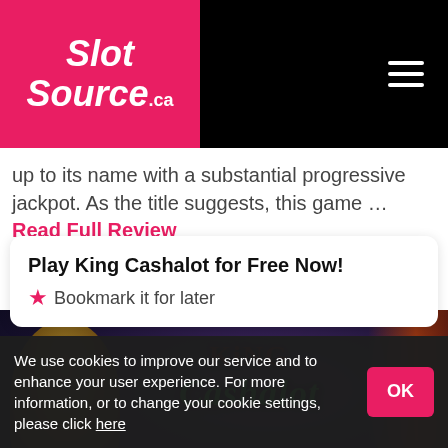[Figure (logo): SlotSource.ca logo on pink/magenta background with cherry graphic, hamburger menu icon on black right side]
up to its name with a substantial progressive jackpot. As the title suggests, this game ... Read Full Review
Play King Cashalot for Free Now!
★ Bookmark it for later
[Figure (screenshot): King Cashalot slot game screenshot showing king figure, game logo in red and green lettering on dark background with curtains. Overlay text: Demo Not Available, Use the Offer Below To]
We use cookies to improve our service and to enhance your user experience. For more information, or to change your cookie settings, please click here